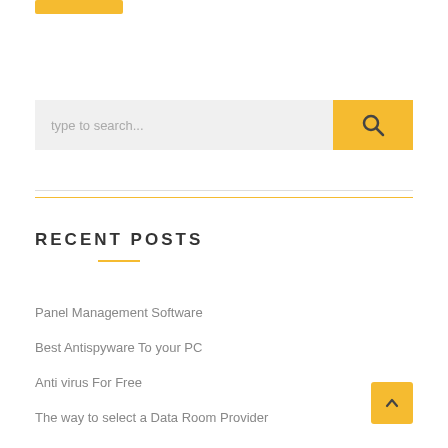[Figure (other): Yellow button at top left corner (partial)]
[Figure (other): Search bar with light gray input field showing placeholder text 'type to search...' and a yellow search button with magnifying glass icon]
RECENT POSTS
Panel Management Software
Best Antispyware To your PC
Anti virus For Free
The way to select a Data Room Provider
[Figure (other): Yellow square back-to-top button with upward chevron arrow]